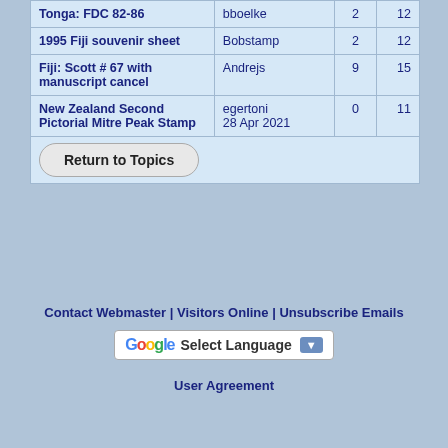| Topic | User | Replies | Views |
| --- | --- | --- | --- |
| Tonga: FDC 82-86 | bboelke | 2 | 12 |
| 1995 Fiji souvenir sheet | Bobstamp | 2 | 12 |
| Fiji: Scott # 67 with manuscript cancel | Andrejs | 9 | 15 |
| New Zealand Second Pictorial Mitre Peak Stamp | egertoni
28 Apr 2021 | 0 | 11 |
Return to Topics
Contact Webmaster | Visitors Online | Unsubscribe Emails
[Figure (other): Google Translate Select Language dropdown widget]
User Agreement